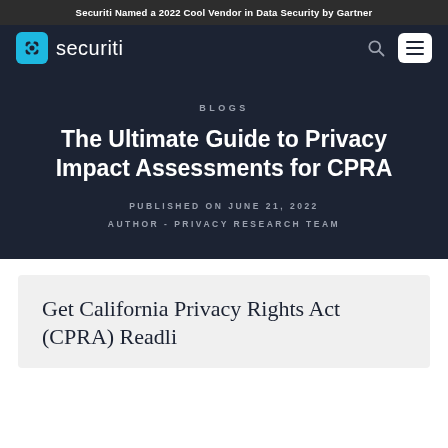Securiti Named a 2022 Cool Vendor in Data Security by Gartner
[Figure (logo): Securiti logo with teal circular icon and wordmark 'securiti']
BLOGS
The Ultimate Guide to Privacy Impact Assessments for CPRA
PUBLISHED ON JUNE 21, 2022
AUTHOR - PRIVACY RESEARCH TEAM
Get California Privacy Rights Act (CPRA) Readli...